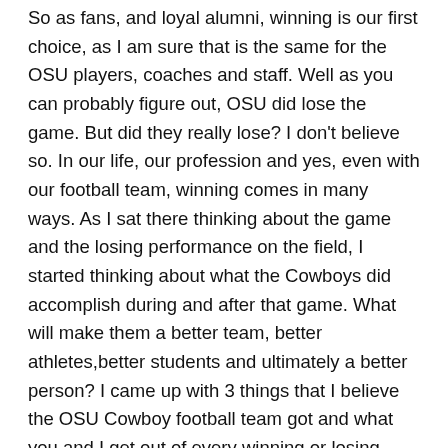So as fans, and loyal alumni, winning is our first choice, as I am sure that is the same for the OSU players, coaches and staff. Well as you can probably figure out, OSU did lose the game. But did they really lose? I don't believe so. In our life, our profession and yes, even with our football team, winning comes in many ways. As I sat there thinking about the game and the losing performance on the field, I started thinking about what the Cowboys did accomplish during and after that game. What will make them a better team, better athletes,better students and ultimately a better person? I came up with 3 things that I believe the OSU Cowboy football team got and what you and I get out of every winning or losing situation and experience.
Clarity- There is no doubt these players gained more clarity on plays, speed, talent, etc. You see, I believe the